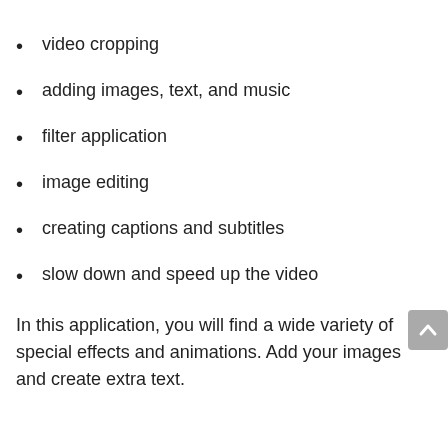video cropping
adding images, text, and music
filter application
image editing
creating captions and subtitles
slow down and speed up the video
In this application, you will find a wide variety of special effects and animations. Add your images and create extra text.